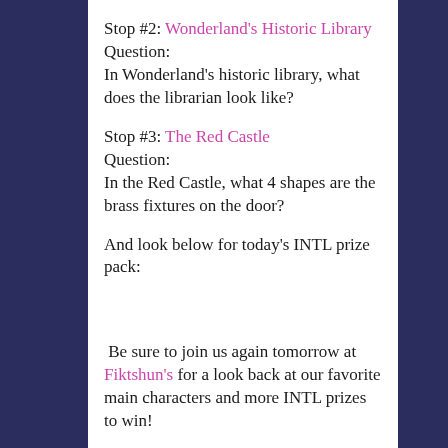Stop #2: Wonderland's Historic Library
Question:
In Wonderland's historic library, what does the librarian look like?
Stop #3: The Red Castle
Question:
In the Red Castle, what 4 shapes are the brass fixtures on the door?
And look below for today's INTL prize pack:
Be sure to join us again tomorrow at Fiktshun's for a look back at our favorite main characters and more INTL prizes to win!
**Also, for domestic-only readers, don't forget to enter the Abram's rafflecopter for 10